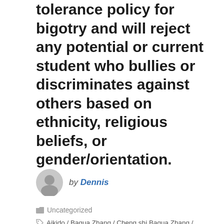tolerance policy for bigotry and will reject any potential or current student who bullies or discriminates against others based on ethnicity, religious beliefs, or gender/orientation.
by Dennis
Uncategorized
Aikido / Bagua Zhang / Cheng shi Bagua Zhang / Cheng Style / Dennis Mace / Internal Fighting Arts Podcast / Interview / Ken Gullette / martial arts / Pete Starr / Phillip Starr / Podcast / Yang Guotai